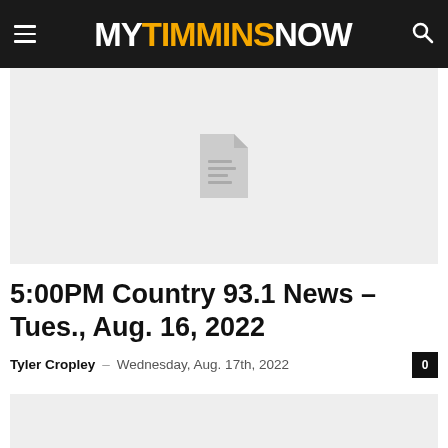MY TIMMINS NOW
[Figure (other): Placeholder image with a document/file icon in the center on a light grey background]
5:00PM Country 93.1 News – Tues., Aug. 16, 2022
Tyler Cropley – Wednesday, Aug. 17th, 2022
[Figure (other): Second placeholder image area, light grey background, partially visible at bottom of page]